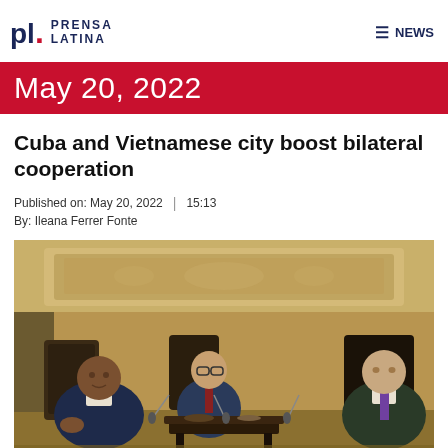PL. PRENSA LATINA — NEWS
May 20, 2022
Cuba and Vietnamese city boost bilateral cooperation
Published on: May 20, 2022  |  15:13
By: Ileana Ferrer Fonte
[Figure (photo): Three men seated in ornate wooden chairs in a formal meeting room with decorative gold-patterned walls. Two men on the left face one man on the right across a small table with microphones, suggesting a diplomatic meeting between Cuban and Vietnamese officials.]